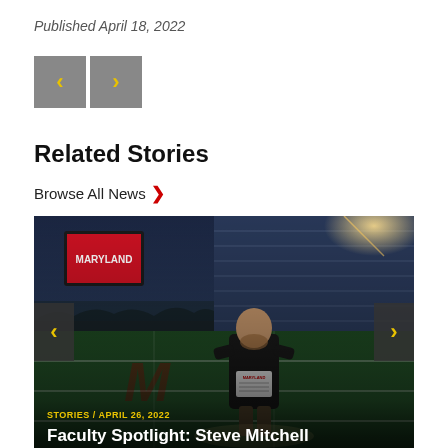Published April 18, 2022
[Figure (other): Navigation arrows (previous/next) as two grey square buttons with yellow chevrons]
Related Stories
Browse All News >
[Figure (photo): A man standing on a football field at a stadium at dusk, holding a Maryland certificate. The stadium seating and scoreboard are visible in the background. Navigation arrows on left and right sides of the image. Overlay text at bottom shows 'STORIES / APRIL 26, 2022' and 'Faculty Spotlight: Steve Mitchell']